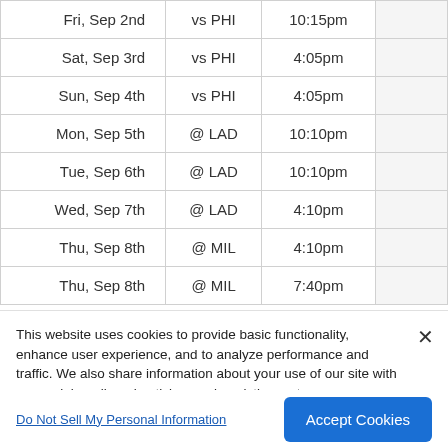| Date | Opponent | Time |  |
| --- | --- | --- | --- |
| Fri, Sep 2nd | vs PHI | 10:15pm |  |
| Sat, Sep 3rd | vs PHI | 4:05pm |  |
| Sun, Sep 4th | vs PHI | 4:05pm |  |
| Mon, Sep 5th | @ LAD | 10:10pm |  |
| Tue, Sep 6th | @ LAD | 10:10pm |  |
| Wed, Sep 7th | @ LAD | 4:10pm |  |
| Thu, Sep 8th | @ MIL | 4:10pm |  |
| Thu, Sep 8th | @ MIL | 7:40pm |  |
This website uses cookies to provide basic functionality, enhance user experience, and to analyze performance and traffic. We also share information about your use of our site with our social media, advertising, and analytics partners.
By using this website you agree to our Terms of Use.
Do Not Sell My Personal Information
Accept Cookies